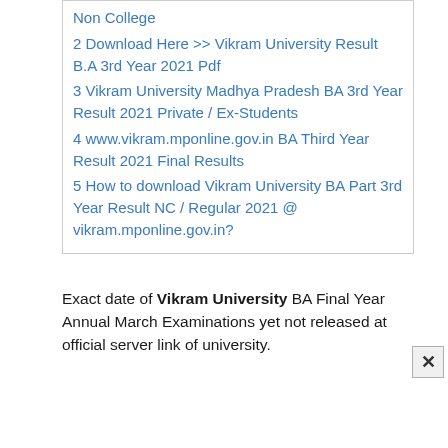Non College
2 Download Here >> Vikram University Result B.A 3rd Year 2021 Pdf
3 Vikram University Madhya Pradesh BA 3rd Year Result 2021 Private / Ex-Students
4 www.vikram.mponline.gov.in BA Third Year Result 2021 Final Results
5 How to download Vikram University BA Part 3rd Year Result NC / Regular 2021 @ vikram.mponline.gov.in?
Exact date of Vikram University BA Final Year Annual March Examinations yet not released at official server link of university.